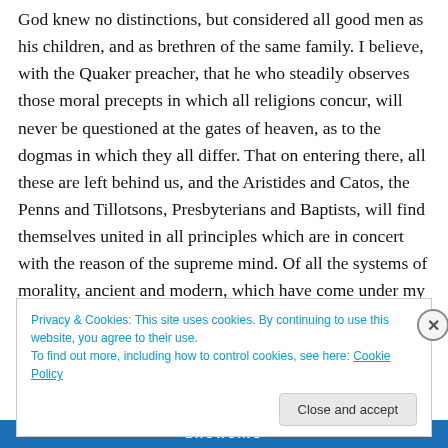God knew no distinctions, but considered all good men as his children, and as brethren of the same family. I believe, with the Quaker preacher, that he who steadily observes those moral precepts in which all religions concur, will never be questioned at the gates of heaven, as to the dogmas in which they all differ. That on entering there, all these are left behind us, and the Aristides and Catos, the Penns and Tillotsons, Presbyterians and Baptists, will find themselves united in all principles which are in concert with the reason of the supreme mind. Of all the systems of morality, ancient and modern, which have come under my
Privacy & Cookies: This site uses cookies. By continuing to use this website, you agree to their use.
To find out more, including how to control cookies, see here: Cookie Policy
Close and accept
BROWSING